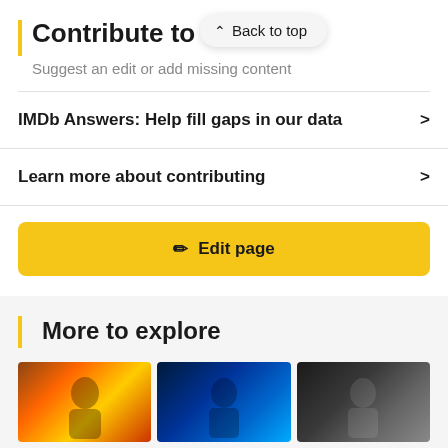Contribute to this
Suggest an edit or add missing content
IMDb Answers: Help fill gaps in our data
Learn more about contributing
Edit page
More to explore
[Figure (photo): Three movie/show thumbnail images side by side at the bottom of the page]